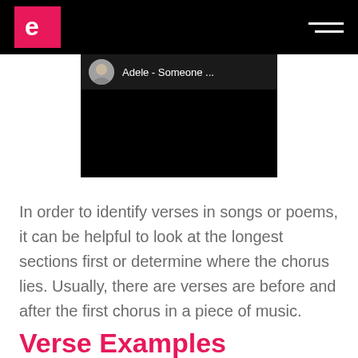e | Adele - Someone ...
[Figure (screenshot): Embedded video player showing Adele - Someone ... with avatar thumbnail and dark background]
In order to identify verses in songs or poems, it can be helpful to look at the longest sections first or determine where the chorus lies. Usually, there are verses are before and after the first chorus in a piece of music.
Verse Examples